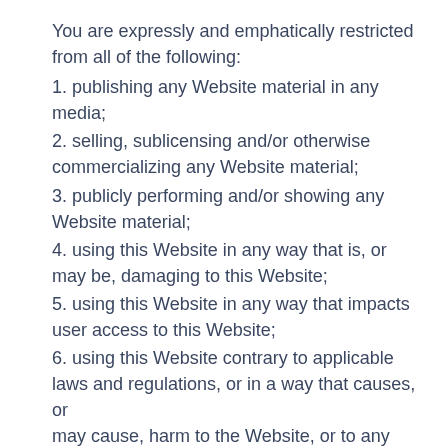You are expressly and emphatically restricted from all of the following:
1. publishing any Website material in any media;
2. selling, sublicensing and/or otherwise commercializing any Website material;
3. publicly performing and/or showing any Website material;
4. using this Website in any way that is, or may be, damaging to this Website;
5. using this Website in any way that impacts user access to this Website;
6. using this Website contrary to applicable laws and regulations, or in a way that causes, or may cause, harm to the Website, or to any person or business entity;
7. engaging in any data mining, data harvesting, data extracting or any other similar activity in relation to this Website, or while using this Website;